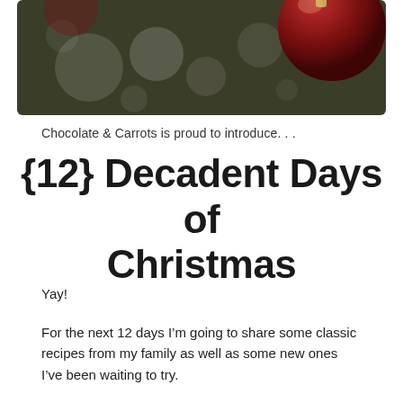[Figure (photo): Close-up photograph of red Christmas ornament baubles with bokeh bokeh white light circles on dark olive/brown background]
Chocolate & Carrots is proud to introduce. . .
{12} Decadent Days of Christmas
Yay!
For the next 12 days I’m going to share some classic recipes from my family as well as some new ones I’ve been waiting to try.